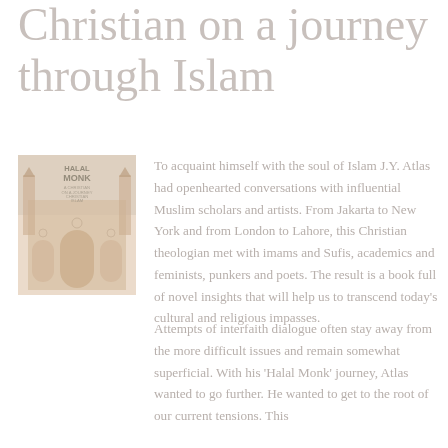Christian on a journey through Islam
[Figure (photo): Book cover of 'Halal Monk: A Christian on a Journey through Islam' showing a mosque building]
To acquaint himself with the soul of Islam J.Y. Atlas had openhearted conversations with influential Muslim scholars and artists. From Jakarta to New York and from London to Lahore, this Christian theologian met with imams and Sufis, academics and feminists, punkers and poets. The result is a book full of novel insights that will help us to transcend today's cultural and religious impasses.
Attempts of interfaith dialogue often stay away from the more difficult issues and remain somewhat superficial. With his 'Halal Monk' journey, Atlas wanted to go further. He wanted to get to the root of our current tensions. This